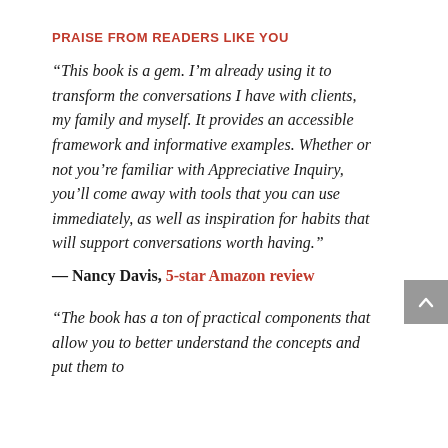PRAISE FROM READERS LIKE YOU
“This book is a gem. I’m already using it to transform the conversations I have with clients, my family and myself. It provides an accessible framework and informative examples. Whether or not you’re familiar with Appreciative Inquiry, you’ll come away with tools that you can use immediately, as well as inspiration for habits that will support conversations worth having.”
— Nancy Davis, 5-star Amazon review
“The book has a ton of practical components that allow you to better understand the concepts and put them to